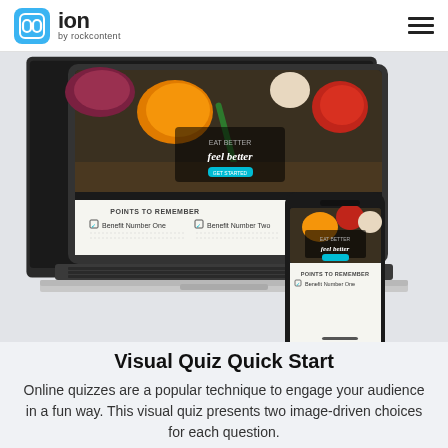ion by rockcontent
[Figure (screenshot): Screenshot of ion by rockcontent visual quiz template shown on a laptop and a smartphone. The template displays a food-themed quiz with vegetables in the header, text 'EAT BETTER feel better', and a section labeled 'POINTS TO REMEMBER' with checkboxes for Benefit Number One and Benefit Number Two.]
Visual Quiz Quick Start
Online quizzes are a popular technique to engage your audience in a fun way. This visual quiz presents two image-driven choices for each question.